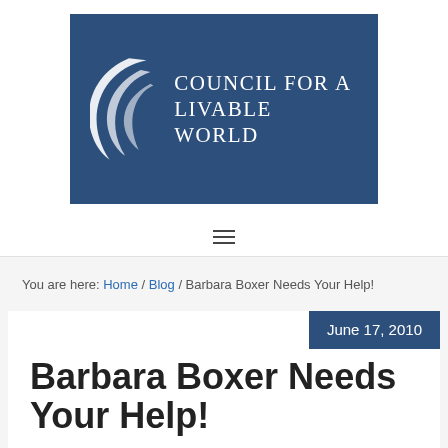[Figure (logo): Council for a Livable World logo — dark navy blue rectangle with white crescent/arc graphic and organization name in uppercase serif text]
≡
You are here: Home / Blog / Barbara Boxer Needs Your Help!
June 17, 2010
Barbara Boxer Needs Your Help!
The Massachusetts special election and unexpected primary upsets serve as harsh